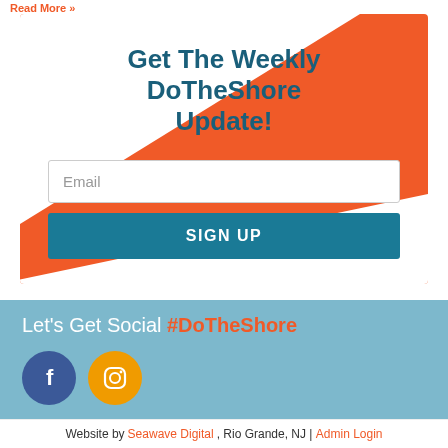Read More »
Get The Weekly DoTheShore Update!
[Figure (screenshot): Email signup form with an orange diagonal background, white area with email input field and a teal SIGN UP button]
Let's Get Social #DoTheShore
[Figure (illustration): Facebook and Instagram social media icons as circular buttons]
Website by Seawave Digital, Rio Grande, NJ | Admin Login